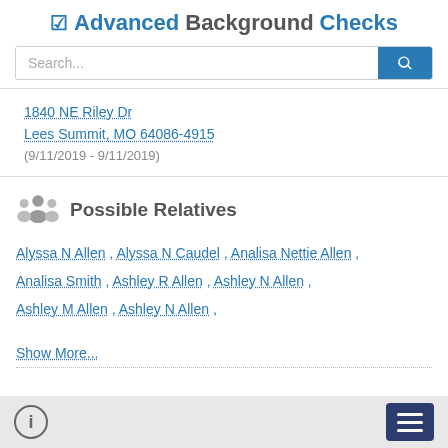AdvancedBackgroundChecks
1840 NE Riley Dr
Lees Summit, MO 64086-4915
(9/11/2019 - 9/11/2019)
Possible Relatives
Alyssa N Allen , Alyssa N Caudel , Analisa Nettie Allen , Analisa Smith , Ashley R Allen , Ashley N Allen , Ashley M Allen , Ashley N Allen ,
Show More...